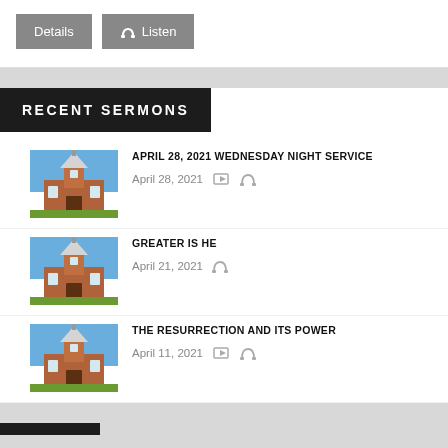Details | Listen
RECENT SERMONS
APRIL 28, 2021 WEDNESDAY NIGHT SERVICE — April 28, 2021
GREATER IS HE — April 21, 2021
THE RESURRECTION AND ITS POWER — April 11, 2021